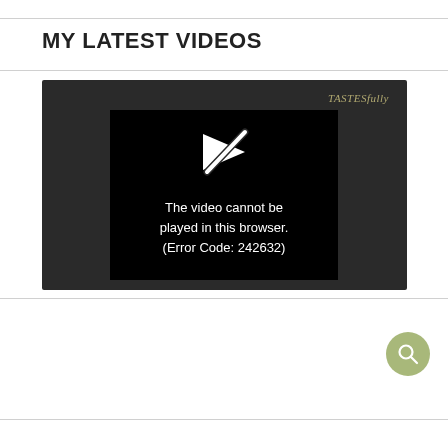MY LATEST VIDEOS
[Figure (screenshot): Video player showing an error message: 'The video cannot be played in this browser. (Error Code: 242632)' with a broken play icon on a black background. The player is embedded in a dark grey container with 'TASTESfully' logo in the top right corner.]